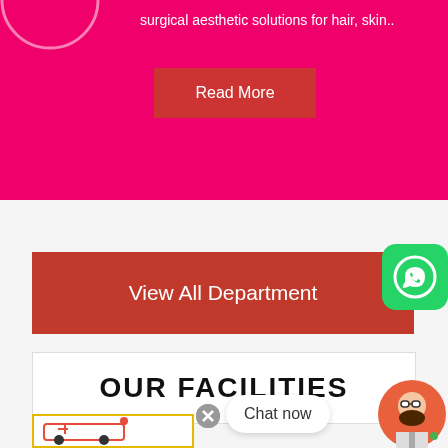surgical aesthetic solutions for hair, skin..
Read More
View All Department
OUR FACILITIES
Chat now